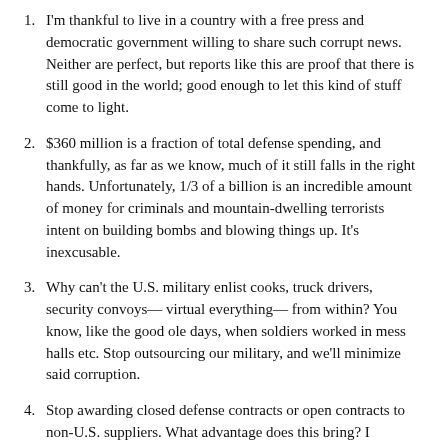I'm thankful to live in a country with a free press and democratic government willing to share such corrupt news. Neither are perfect, but reports like this are proof that there is still good in the world; good enough to let this kind of stuff come to light.
$360 million is a fraction of total defense spending, and thankfully, as far as we know, much of it still falls in the right hands. Unfortunately, 1/3 of a billion is an incredible amount of money for criminals and mountain-dwelling terrorists intent on building bombs and blowing things up. It's inexcusable.
Why can't the U.S. military enlist cooks, truck drivers, security convoys— virtual everything— from within? You know, like the good ole days, when soldiers worked in mess halls etc. Stop outsourcing our military, and we'll minimize said corruption.
Stop awarding closed defense contracts or open contracts to non-U.S. suppliers. What advantage does this bring? I understand President Obama awards contracts to Afghan companies in an effort to stabilize their economy. But is that the purpose of defense spending? Shouldn't it be